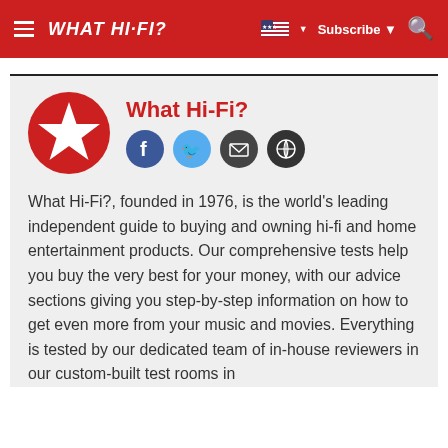WHAT HI-FI?
[Figure (logo): What Hi-Fi? red circle logo with white star]
What Hi-Fi?
What Hi-Fi?, founded in 1976, is the world's leading independent guide to buying and owning hi-fi and home entertainment products. Our comprehensive tests help you buy the very best for your money, with our advice sections giving you step-by-step information on how to get even more from your music and movies. Everything is tested by our dedicated team of in-house reviewers in our custom-built test rooms in London and Bath. Our respected five-star rating and